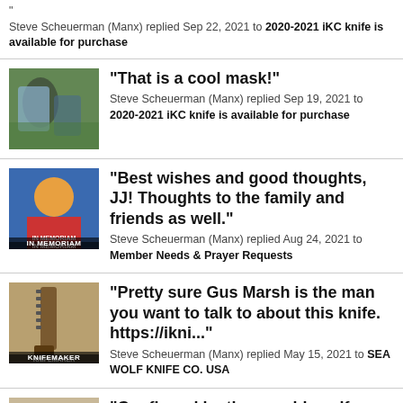" Steve Scheuerman (Manx) replied Sep 22, 2021 to 2020-2021 iKC knife is available for purchase
"That is a cool mask!" Steve Scheuerman (Manx) replied Sep 19, 2021 to 2020-2021 iKC knife is available for purchase
"Best wishes and good thoughts, JJ! Thoughts to the family and friends as well." Steve Scheuerman (Manx) replied Aug 24, 2021 to Member Needs & Prayer Requests
"Pretty sure Gus Marsh is the man you want to talk to about this knife. https://ikni..." Steve Scheuerman (Manx) replied May 15, 2021 to SEA WOLF KNIFE CO. USA
"Confirmed by the man himself,